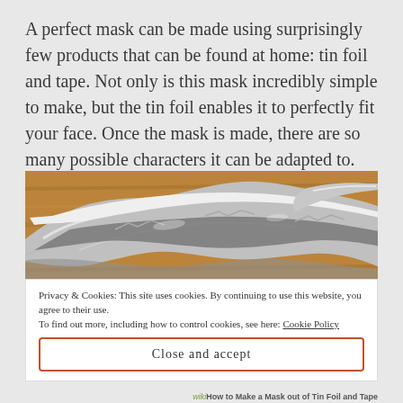A perfect mask can be made using surprisingly few products that can be found at home: tin foil and tape. Not only is this mask incredibly simple to make, but the tin foil enables it to perfectly fit your face. Once the mask is made, there are so many possible characters it can be adapted to.
[Figure (photo): Close-up photo of crumpled tin foil (aluminum foil) on a wooden surface, showing the metallic silvery texture against a warm brown wood background.]
Privacy & Cookies: This site uses cookies. By continuing to use this website, you agree to their use.
To find out more, including how to control cookies, see here: Cookie Policy
Close and accept
wikiHow to Make a Mask out of Tin Foil and Tape